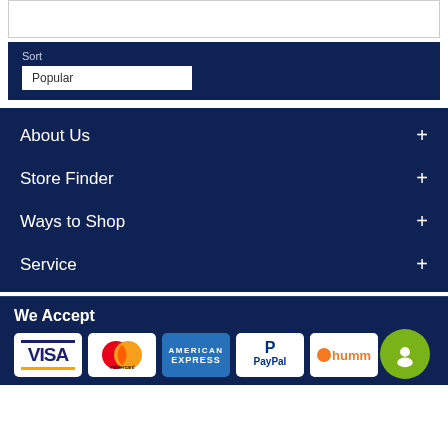Sort
Popular
About Us +
Store Finder +
Ways to Shop +
Service +
We Accept
[Figure (logo): Payment logos: Visa, Mastercard, American Express, PayPal, Humm, and a green circular icon]